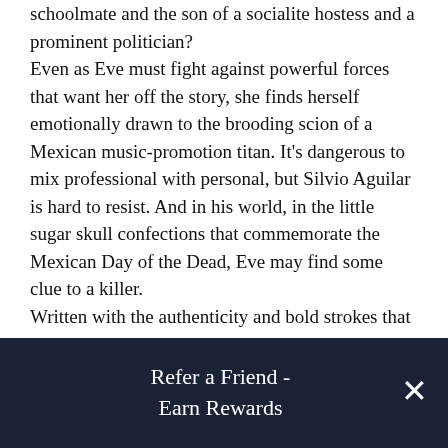leader's relationship with Pablo Langdon, her schoolmate and the son of a socialite hostess and a prominent politician? Even as Eve must fight against powerful forces that want her off the story, she finds herself emotionally drawn to the brooding scion of a Mexican music-promotion titan. It's dangerous to mix professional with personal, but Silvio Aguilar is hard to resist. And in his world, in the little sugar skull confections that commemorate the Mexican Day of the Dead, Eve may find some clue to a killer. Written with the authenticity and bold strokes that Denise Hamilton has made her own, Sugar Skull is much more than a triumphant crime novel -- it's a dazzling portrait of a city full of diversity. Rich with nuance and insight, this is compelling, illuminating
Refer a Friend - Earn Rewards